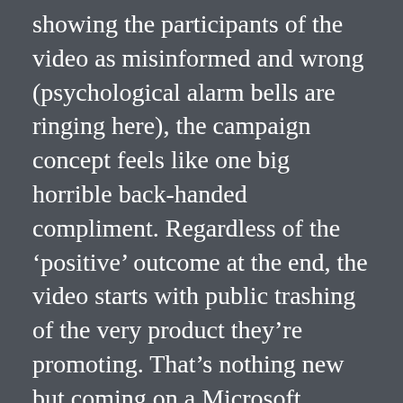showing the participants of the video as misinformed and wrong (psychological alarm bells are ringing here), the campaign concept feels like one big horrible back-handed compliment. Regardless of the ‘positive’ outcome at the end, the video starts with public trashing of the very product they’re promoting. That’s nothing new but coming on a Microsoft marketing message seems to validate those opinions. It just leaves a really bad taste in the mouth.
Check out the bearded guy (third row, fifth column from the right):
So what three words would you use to describe ‘Mojave’?